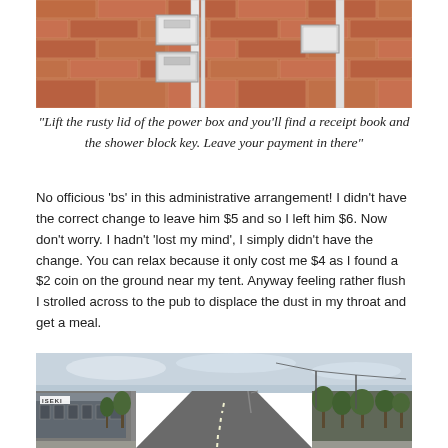[Figure (photo): Close-up photo of a metal power box mounted on a red brick wall, with white metal conduit/pipe running alongside it]
“Lift the rusty lid of the power box and you’ll find a receipt book and the shower block key. Leave your payment in there”
No officious ‘bs’ in this administrative arrangement! I didn’t have the correct change to leave him $5 and so I left him $6. Now don’t worry. I hadn’t ‘lost my mind’, I simply didn’t have the change. You can relax because it only cost me $4 as I found a $2 coin on the ground near my tent. Anyway feeling rather flush I strolled across to the pub to displace the dust in my throat and get a meal.
[Figure (photo): Street-level photo of a suburban Australian main street with an ISEKI dealership on the left, trees lining the road, and power lines visible. The road stretches into the distance under a cloudy sky.]